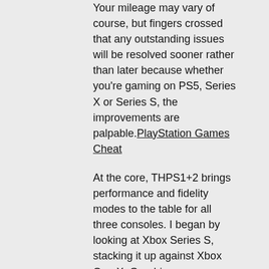Your mileage may vary of course, but fingers crossed that any outstanding issues will be resolved sooner rather than later because whether you're gaming on PS5, Series X or Series S, the improvements are palpable. PlayStation Games Cheat
At the core, THPS1+2 brings performance and fidelity modes to the table for all three consoles. I began by looking at Xbox Series S, stacking it up against Xbox One X. Graphics improvements are incorporated and that starts with improved temporal anti-aliasing, giving a much more stable image in motion and fewer untreated edges. Post-processing also gets a small revamp: some have noted black crush in the new version, but to my eyes, it seems to be a new colour grading set-up designed to give a punchier image. Bloom effects are heightened, light beams have higher